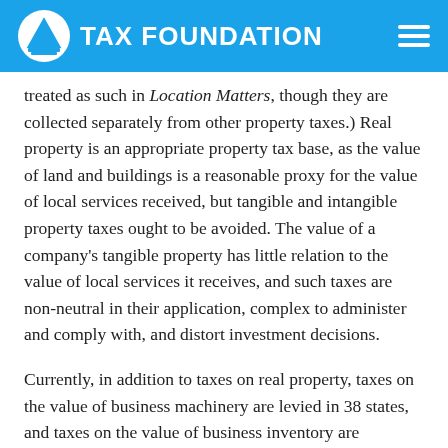TAX FOUNDATION
treated as such in Location Matters, though they are collected separately from other property taxes.) Real property is an appropriate property tax base, as the value of land and buildings is a reasonable proxy for the value of local services received, but tangible and intangible property taxes ought to be avoided. The value of a company's tangible property has little relation to the value of local services it receives, and such taxes are non-neutral in their application, complex to administer and comply with, and distort investment decisions.
Currently, in addition to taxes on real property, taxes on the value of business machinery are levied in 38 states, and taxes on the value of business inventory are collected in 10 states. These taxes are a significant driver of overall tax burdens for businesses in capital- or inventory-intensive industries like manufacturing, agriculture, and retail, among others.